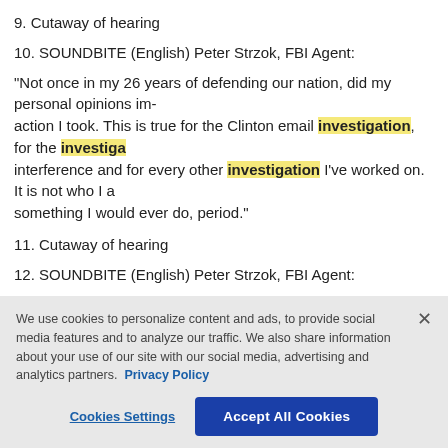9. Cutaway of hearing
10. SOUNDBITE (English) Peter Strzok, FBI Agent:
"Not once in my 26 years of defending our nation, did my personal opinions im- pact any action I took. This is true for the Clinton email investigation, for the investigation into election interference and for every other investigation I've worked on. It is not who I am, and it is not something I would ever do, period."
11. Cutaway of hearing
12. SOUNDBITE (English) Peter Strzok, FBI Agent:
"In the summer of 2016, I was one of a handful of people who knew the details of Russian election interference and its possible connections with members of the Trump campaign. That information had the potential to derail and quite possibly defeat Mr. Trump, but the thought of expressing that or exposing that information never crossed my mind."
13. Cutaway of hearing
We use cookies to personalize content and ads, to provide social media features and to analyze our traffic. We also share information about your use of our site with our social media, advertising and analytics partners. Privacy Policy